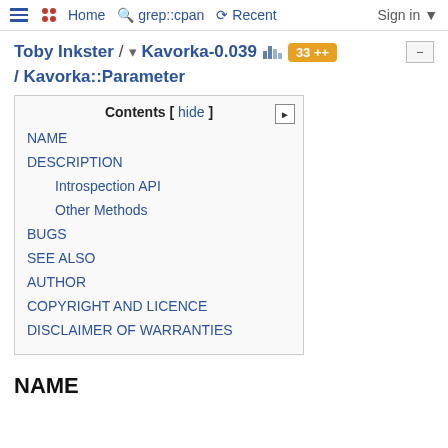Home | grep::cpan | Recent | Sign in
Toby Inkster / Kavorka-0.039 / Kavorka::Parameter
Contents [ hide ]
NAME
DESCRIPTION
Introspection API
Other Methods
BUGS
SEE ALSO
AUTHOR
COPYRIGHT AND LICENCE
DISCLAIMER OF WARRANTIES
NAME